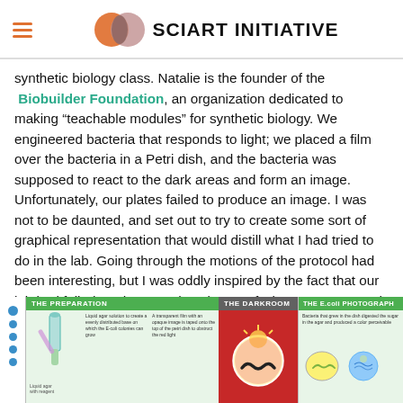SciArt Initiative
synthetic biology class. Natalie is the founder of the Biobuilder Foundation, an organization dedicated to making “teachable modules” for synthetic biology. We engineered bacteria that responds to light; we placed a film over the bacteria in a Petri dish, and the bacteria was supposed to react to the dark areas and form an image. Unfortunately, our plates failed to produce an image. I was not to be daunted, and set out to try to create some sort of graphical representation that would distill what I had tried to do in the lab. Going through the motions of the protocol had been interesting, but I was oddly inspired by the fact that our lab had failed, and I wanted a ‘picture’ of what was supposed to have happened on a microbial level.
[Figure (infographic): Infographic showing three panels: THE PREPARATION (green header, light green background with diagrams of lab preparation steps and small text), THE DARKROOM (dark gray header, red background with a circle containing a mustache graphic), and THE E.coli PHOTOGRAPH (green header, light green background with small diagrams of petri dishes and bacterial images). Left side has blue dot indicators.]